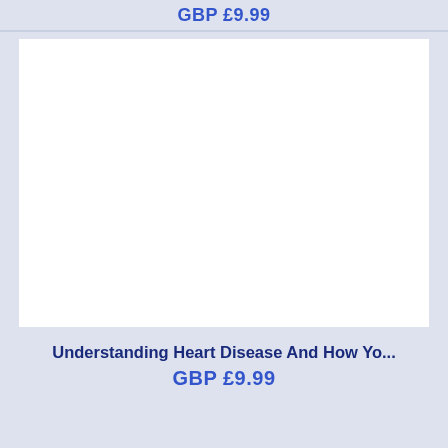GBP £9.99
[Figure (other): Book cover image area (white rectangle placeholder)]
Understanding Heart Disease And How Yo...
GBP £9.99